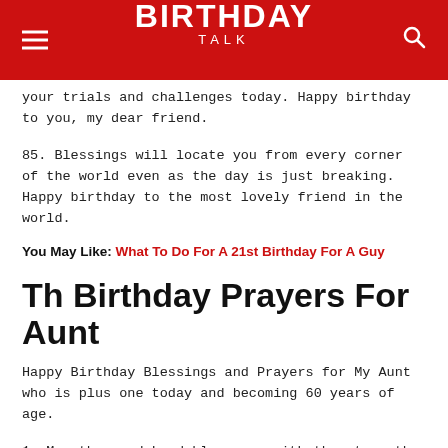BIRTHDAY TALK
your trials and challenges today. Happy birthday to you, my dear friend.
85. Blessings will locate you from every corner of the world even as the day is just breaking. Happy birthday to the most lovely friend in the world.
You May Like: What To Do For A 21st Birthday For A Guy
Th Birthday Prayers For Aunt
Happy Birthday Blessings and Prayers for My Aunt who is plus one today and becoming 60 years of age.
1. May the good Lord bless you with the strength and courage to accomplish your dreams and goals in life. May you today and always have a reason to rejoice and be thankful. May your life today and always be filled with happiness, peace and boundless love. And may the Almighty God never stop blessing you with all your good heart desires today and all the